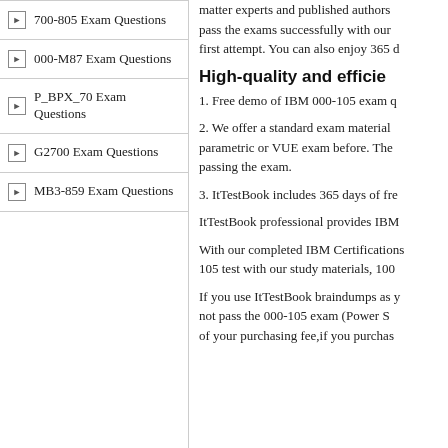700-805 Exam Questions
000-M87 Exam Questions
P_BPX_70 Exam Questions
G2700 Exam Questions
MB3-859 Exam Questions
matter experts and published authors pass the exams successfully with our first attempt. You can also enjoy 365 d
High-quality and efficie
1. Free demo of IBM 000-105 exam q
2. We offer a standard exam material parametric or VUE exam before. The passing the exam.
3. ItTestBook includes 365 days of fre
ItTestBook professional provides IBM
With our completed IBM Certifications 105 test with our study materials, 100
If you use ItTestBook braindumps as y not pass the 000-105 exam (Power S of your purchasing fee,if you purchas